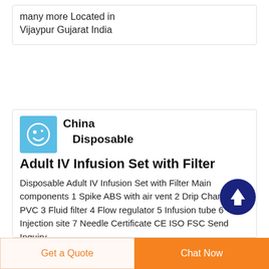many more Located in Vijaypur Gujarat India
[Figure (logo): Blue square logo with white circular icon]
China Disposable Adult IV Infusion Set with Filter
Disposable Adult IV Infusion Set with Filter Main components 1 Spike ABS with air vent 2 Drip Chamber PVC 3 Fluid filter 4 Flow regulator 5 Infusion tube 6 Injection site 7 Needle Certificate CE ISO FSC Send Inquiry
[Figure (illustration): Dark blue circle with white upward arrow (scroll to top button)]
Get a Quote
Chat Now